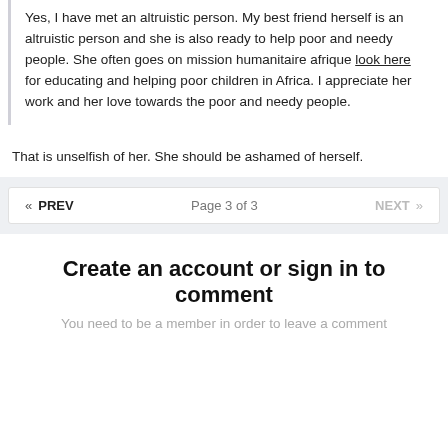Yes, I have met an altruistic person. My best friend herself is an altruistic person and she is also ready to help poor and needy people. She often goes on mission humanitaire afrique look here for educating and helping poor children in Africa. I appreciate her work and her love towards the poor and needy people.
That is unselfish of her. She should be ashamed of herself.
« PREV   Page 3 of 3   NEXT »
Create an account or sign in to comment
You need to be a member in order to leave a comment